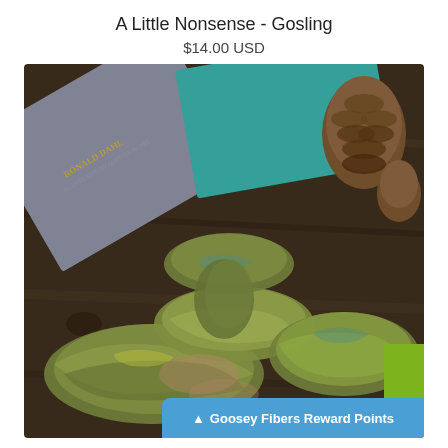A Little Nonsense - Gosling
$14.00 USD
[Figure (photo): Skeins of hand-dyed yarn in mottled yellow-green, olive, teal, and peach tones arranged on a dark wood surface, with Roald Dahl books and pine cones in the background]
▲ Goosey Fibers Reward Points